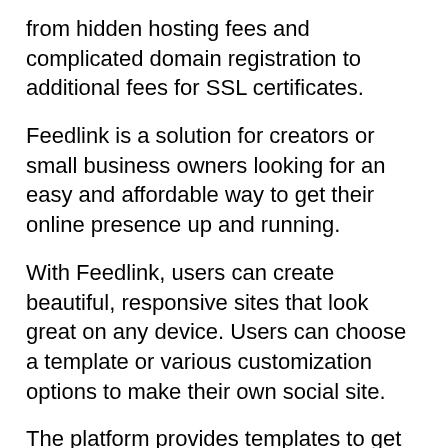from hidden hosting fees and complicated domain registration to additional fees for SSL certificates.
Feedlink is a solution for creators or small business owners looking for an easy and affordable way to get their online presence up and running.
With Feedlink, users can create beautiful, responsive sites that look great on any device. Users can choose a template or various customization options to make their own social site.
The platform provides templates to get started fast and efficiently. This means that users don't need any coding skills and can go live in just a few clicks. They can choose from a wide selection of page templates depending on their industry or occupation.